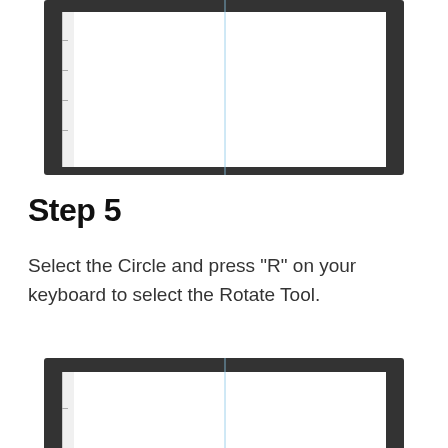[Figure (screenshot): Screenshot of a design application showing a blank canvas with a vertical blue guide line in the center. The interface has a dark gray border/frame around a white canvas area.]
Step 5
Select the Circle and press "R" on your keyboard to select the Rotate Tool.
[Figure (screenshot): Screenshot of a design application showing a blank canvas with a vertical blue guide line in the center and a small dark navy/black filled circle positioned slightly left of center on the canvas. The interface has a dark gray border/frame around a white canvas area.]